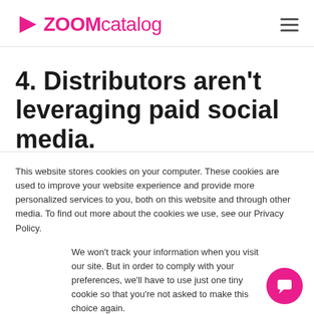ZOOMcatalog
4. Distributors aren't leveraging paid social media.
This website stores cookies on your computer. These cookies are used to improve your website experience and provide more personalized services to you, both on this website and through other media. To find out more about the cookies we use, see our Privacy Policy.
We won't track your information when you visit our site. But in order to comply with your preferences, we'll have to use just one tiny cookie so that you're not asked to make this choice again.
Accept | Decline